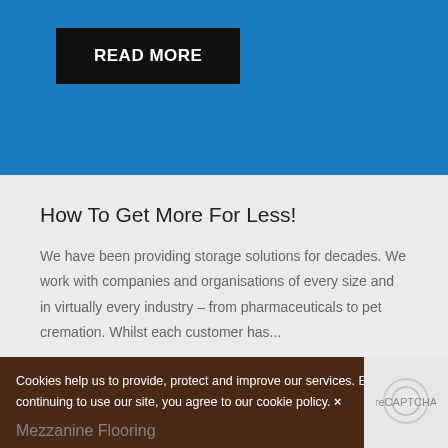[Figure (screenshot): Blue section with READ MORE button on black background]
How To Get More For Less!
We have been providing storage solutions for decades. We work with companies and organisations of every size and in virtually every industry – from pharmaceuticals to pet cremation. Whilst each customer has...
READ MORE
Cookies help us to provide, protect and improve our services. By continuing to use our site, you agree to our cookie policy. ×
Mezzanine Flooring